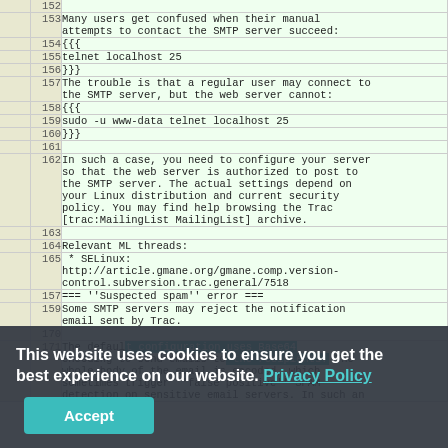|  | line | code |
| --- | --- | --- |
|  | 152 |  |
|  | 153 | Many users get confused when their manual attempts to contact the SMTP server succeed: |
|  | 154 | {{{ |
|  | 155 | telnet localhost 25 |
|  | 156 | }}} |
|  | 157 | The trouble is that a regular user may connect to the SMTP server, but the web server cannot: |
|  | 158 | {{{ |
|  | 159 | sudo -u www-data telnet localhost 25 |
|  | 160 | }}} |
|  | 161 |  |
|  | 162 | In such a case, you need to configure your server so that the web server is authorized to post to the SMTP server. The actual settings depend on your Linux distribution and current security policy. You may find help browsing the Trac [trac:MailingList MailingList] archive. |
|  | 163 |  |
|  | 164 | Relevant ML threads: |
|  | 165 |  * SELinux: http://article.gmane.org/gmane.comp.version-control.subversion.trac.general/7518 |
|  | 167 | === ''Suspected spam'' error === |
|  | 169 | Some SMTP servers may reject the notification email sent by Trac. |
|  | 170 |  |
|  | 171 | The default configuration uses Base64 encoding to send emails to the recipients. The whole body of the email is encoded, which sometimes trigger ''false positive'' SPAM detection on sensitive email servers. In such an |
This website uses cookies to ensure you get the best experience on our website. Privacy Policy
Accept